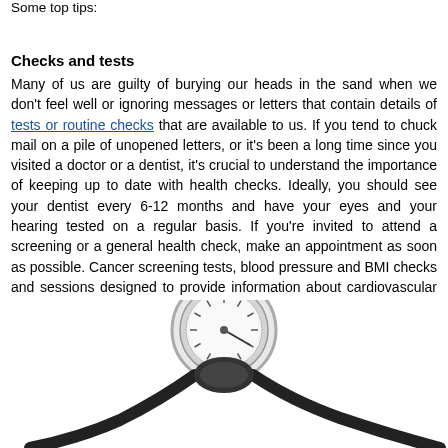Some top tips:
Checks and tests
Many of us are guilty of burying our heads in the sand when we don't feel well or ignoring messages or letters that contain details of tests or routine checks that are available to us. If you tend to chuck mail on a pile of unopened letters, or it's been a long time since you visited a doctor or a dentist, it's crucial to understand the importance of keeping up to date with health checks. Ideally, you should see your dentist every 6-12 months and have your eyes and your hearing tested on a regular basis. If you're invited to attend a screening or a general health check, make an appointment as soon as possible. Cancer screening tests, blood pressure and BMI checks and sessions designed to provide information about cardiovascular illnesses and diabetes save lives.
[Figure (photo): Close-up photo of a blood pressure gauge (sphygmomanometer) with black tubing on a white background]